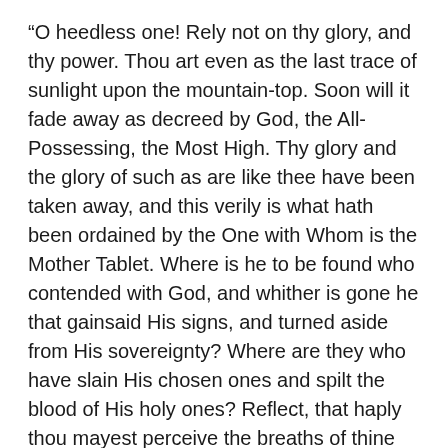“O heedless one! Rely not on thy glory, and thy power. Thou art even as the last trace of sunlight upon the mountain-top. Soon will it fade away as decreed by God, the All-Possessing, the Most High. Thy glory and the glory of such as are like thee have been taken away, and this verily is what hath been ordained by the One with Whom is the Mother Tablet. Where is he to be found who contended with God, and whither is gone he that gainsaid His signs, and turned aside from His sovereignty? Where are they who have slain His chosen ones and spilt the blood of His holy ones? Reflect, that haply thou mayest perceive the breaths of thine acts, O foolish doubter! Because of you the Apostle (Muḥammad) lamented, and the Chaste One (Fátimih) cried out, and the countries were laid waste, and darkness fell upon all regions. O concourse of divines! Because of you the people were abased, and the banner of Islám was hauled down, and its mighty